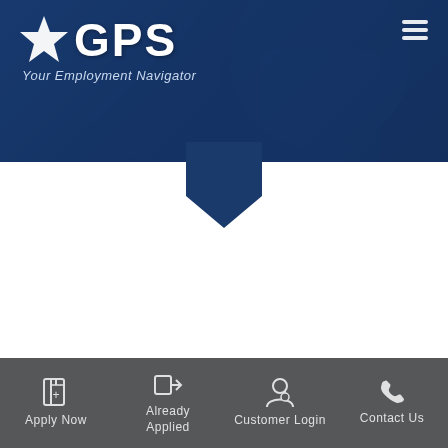[Figure (screenshot): GPS Employment Navigator website header with logo, star icon, tagline 'Your Employment Navigator', hamburger menu icon, dark blue banner with person in background, downward pointing arrow below banner, white content area, and dark grey footer with four navigation items: Apply Now, Already Applied, Customer Login, Contact Us.]
Apply Now | Already Applied | Customer Login | Contact Us